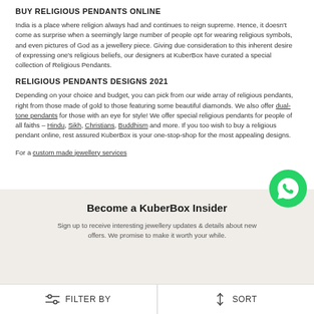BUY RELIGIOUS PENDANTS ONLINE
India is a place where religion always had and continues to reign supreme. Hence, it doesn't come as surprise when a seemingly large number of people opt for wearing religious symbols, and even pictures of God as a jewellery piece. Giving due consideration to this inherent desire of expressing one's religious beliefs, our designers at KuberBox have curated a special collection of Religious Pendants.
RELIGIOUS PENDANTS DESIGNS 2021
Depending on your choice and budget, you can pick from our wide array of religious pendants, right from those made of gold to those featuring some beautiful diamonds. We also offer dual-tone pendants for those with an eye for style! We offer special religious pendants for people of all faiths – Hindu, Sikh, Christians, Buddhism and more. If you too wish to buy a religious pendant online, rest assured KuberBox is your one-stop-shop for the most appealing designs.
For a custom made jewellery services
[Figure (logo): WhatsApp green phone icon button]
Become a KuberBox Insider
Sign up to receive interesting jewellery updates & details about new offers. We promise to make it worth your while.
FILTER BY   SORT